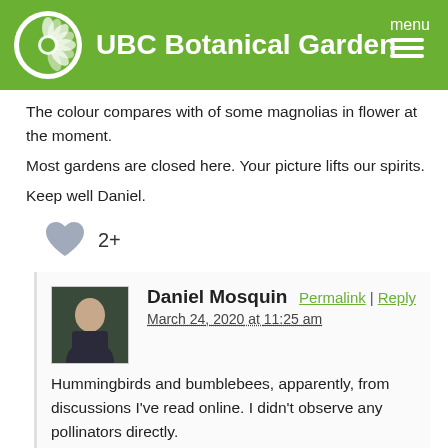UBC Botanical Garden
The colour compares with of some magnolias in flower at the moment.
Most gardens are closed here. Your picture lifts our spirits.
Keep well Daniel.
[Figure (infographic): Heart/like icon with count '2+']
Daniel Mosquin
March 24, 2020 at 11:25 am
Hummingbirds and bumblebees, apparently, from discussions I've read online. I didn't observe any pollinators directly.